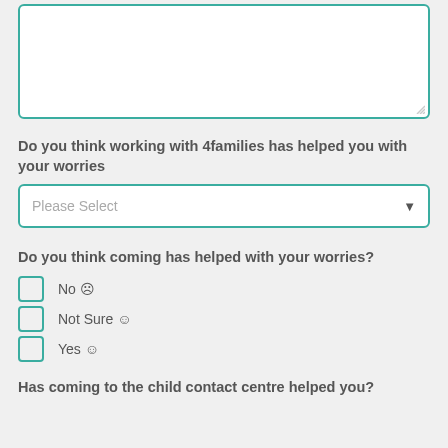[Figure (other): Text area input box with teal border and resize handle]
Do you think working with 4families has helped you with your worries
[Figure (other): Dropdown select box with 'Please Select' placeholder and teal border]
Do you think coming has helped with your worries?
No ☹
Not Sure 😐
Yes ☺
Has coming to the child contact centre helped you?